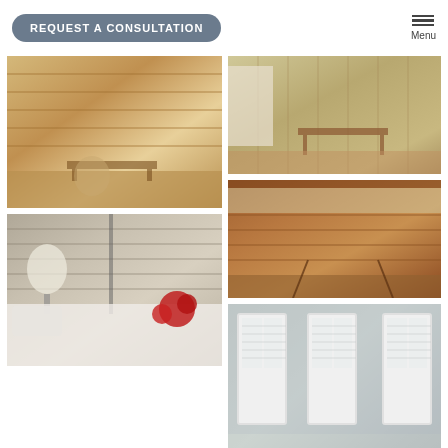REQUEST A CONSULTATION | Menu
[Figure (photo): Interior room with horizontal blinds/shades, warm golden light, desk and chairs visible]
[Figure (photo): Home office/study with textured tan wall paneling, wooden desk, window with natural light]
[Figure (photo): Bedroom with layered horizontal fabric shades, lamp, red flower arrangement on white bed]
[Figure (photo): Sunroom/study with warm wooden walls, large honeycomb/cellular shades, desk and chairs]
[Figure (photo): Light grey living/office space with white shutter-style blinds on tall windows, modern chairs and desk]